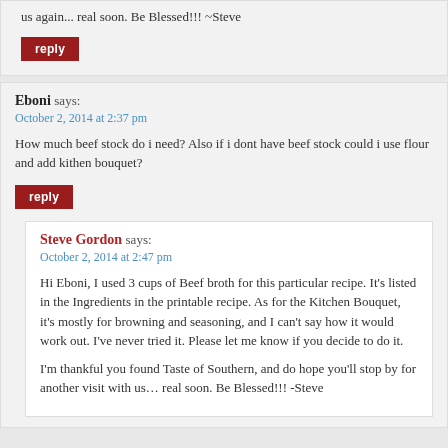us again... real soon. Be Blessed!!! ~Steve
reply
Eboni says:
October 2, 2014 at 2:37 pm
How much beef stock do i need? Also if i dont have beef stock could i use flour and add kithen bouquet?
reply
Steve Gordon says:
October 2, 2014 at 2:47 pm
Hi Eboni, I used 3 cups of Beef broth for this particular recipe. It's listed in the Ingredients in the printable recipe. As for the Kitchen Bouquet, it's mostly for browning and seasoning, and I can't say how it would work out. I've never tried it. Please let me know if you decide to do it.
I'm thankful you found Taste of Southern, and do hope you'll stop by for another visit with us… real soon. Be Blessed!!! -Steve